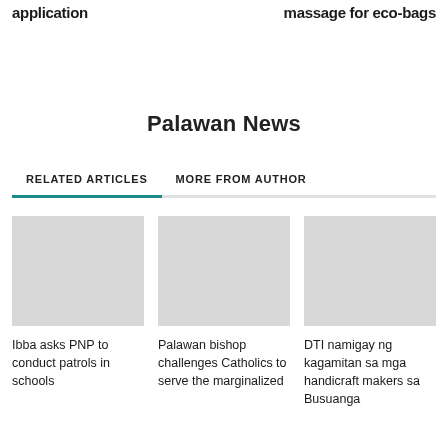application	massage for eco-bags
Palawan News
RELATED ARTICLES   MORE FROM AUTHOR
[Figure (photo): Thumbnail image placeholder for article: Ibba asks PNP to conduct patrols in schools]
Ibba asks PNP to conduct patrols in schools
[Figure (photo): Thumbnail image placeholder for article: Palawan bishop challenges Catholics to serve the marginalized]
Palawan bishop challenges Catholics to serve the marginalized
[Figure (photo): Thumbnail image placeholder for article: DTI namigay ng kagamitan sa mga handicraft makers sa Busuanga]
DTI namigay ng kagamitan sa mga handicraft makers sa Busuanga